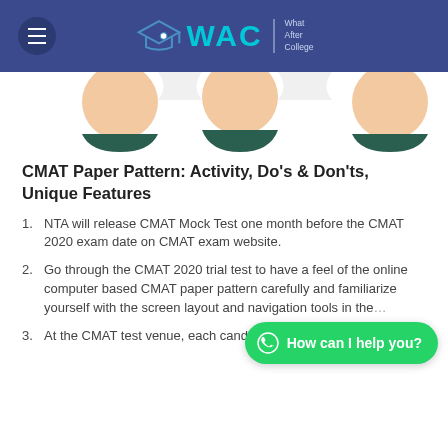[Figure (logo): WAC (What After College) website header with hamburger menu and logo on blue background]
[Figure (illustration): Partial illustration strip showing cartoon figures with peach/skin-colored round heads against white background]
CMAT Paper Pattern: Activity, Do's & Don'ts, Unique Features
NTA will release CMAT Mock Test one month before the CMAT 2020 exam date on CMAT exam website.
Go through the CMAT 2020 trial test to have a feel of the online computer based CMAT paper pattern carefully and familiarize yourself with the screen layout and navigation tools in the…
At the CMAT test venue, each candidate will be seated at…
[Figure (other): WhatsApp floating chat button with text 'How can I help you?']